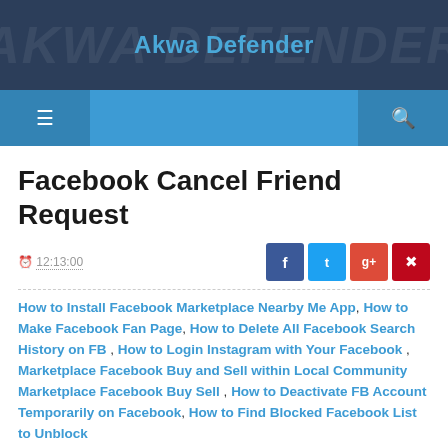Akwa Defender
Facebook Cancel Friend Request
12:13:00
How to Install Facebook Marketplace Nearby Me App , How to Make Facebook Fan Page , How to Delete All Facebook Search History on FB , How to Login Instagram with Your Facebook , Marketplace Facebook Buy and Sell within Local Community Marketplace Facebook Buy Sell , How to Deactivate FB Account Temporarily on Facebook , How to Find Blocked Facebook List to Unblock